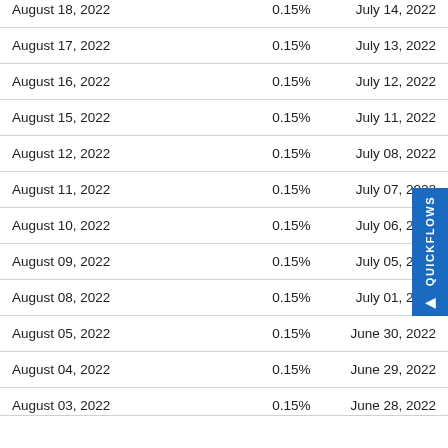| Payment Date | Rate | Record Date |
| --- | --- | --- |
| August 18, 2022 | 0.15% | July 14, 2022 |
| August 17, 2022 | 0.15% | July 13, 2022 |
| August 16, 2022 | 0.15% | July 12, 2022 |
| August 15, 2022 | 0.15% | July 11, 2022 |
| August 12, 2022 | 0.15% | July 08, 2022 |
| August 11, 2022 | 0.15% | July 07, 2022 |
| August 10, 2022 | 0.15% | July 06, 2022 |
| August 09, 2022 | 0.15% | July 05, 2022 |
| August 08, 2022 | 0.15% | July 01, 2022 |
| August 05, 2022 | 0.15% | June 30, 2022 |
| August 04, 2022 | 0.15% | June 29, 2022 |